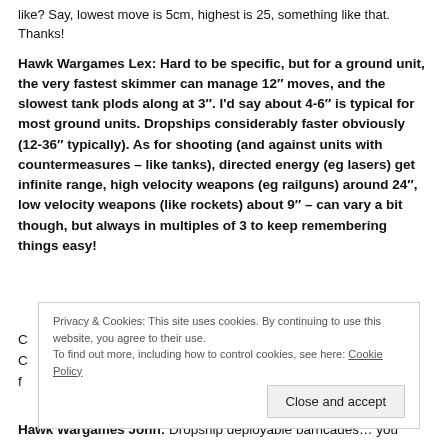like? Say, lowest move is 5cm, highest is 25, something like that. Thanks!
Hawk Wargames Lex: Hard to be specific, but for a ground unit, the very fastest skimmer can manage 12" moves, and the slowest tank plods along at 3". I'd say about 4-6" is typical for most ground units. Dropships considerably faster obviously (12-36" typically). As for shooting (and against units with countermeasures – like tanks), directed energy (eg lasers) get infinite range, high velocity weapons (eg railguns) around 24", low velocity weapons (like rockets) about 9" – can vary a bit though, but always in multiples of 3 to keep remembering things easy!
C
C
f
Privacy & Cookies: This site uses cookies. By continuing to use this website, you agree to their use.
To find out more, including how to control cookies, see here: Cookie Policy
Close and accept
Hawk Wargames John: Dropship deployable barricades… you